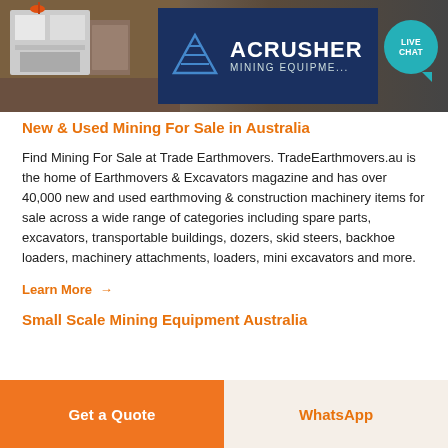[Figure (photo): Banner image showing a crusher/mining machine on the left side, with an Acrusher Mining Equipment logo and branding on a dark blue background on the right, with a teal 'Live Chat' speech bubble overlay]
New & Used Mining For Sale in Australia
Find Mining For Sale at Trade Earthmovers. TradeEarthmovers.au is the home of Earthmovers & Excavators magazine and has over 40,000 new and used earthmoving & construction machinery items for sale across a wide range of categories including spare parts, excavators, transportable buildings, dozers, skid steers, backhoe loaders, machinery attachments, loaders, mini excavators and more.
Learn More →
Small Scale Mining Equipment Australia